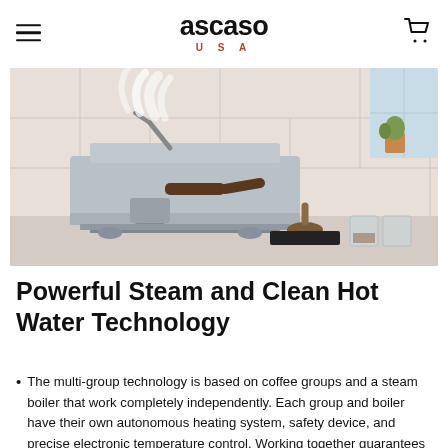ascaso USA
[Figure (photo): Ascaso espresso machine on a kitchen counter emitting steam, with a tamper and glass cups nearby. White tile background.]
Powerful Steam and Clean Hot Water Technology
The multi-group technology is based on coffee groups and a steam boiler that work completely independently. Each group and boiler have their own autonomous heating system, safety device, and precise electronic temperature control. Working together guarantees